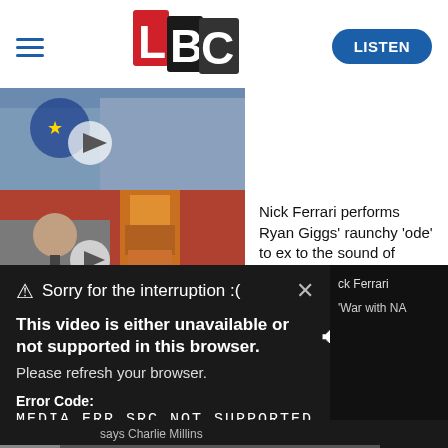[Figure (logo): LBC logo with L in red, B in black, C in dark grey/black with white text]
[Figure (photo): Thumbnail image of a person, partially visible, with a play button overlay (circular)]
[Figure (photo): Thumbnail image showing a person at a microphone and a totem pole, with a play button overlay]
Nick Ferrari performs Ryan Giggs' raunchy 'ode' to ex to the sound of minstrels
[Figure (screenshot): Video error overlay popup on dark background: 'Sorry for the interruption :(' with close X button. Bold text: 'This video is either unavailable or not supported in this browser.' Then: 'Please refresh your browser.' Error Code: MEDIA ERR SRC NOT SUPPORTED]
says Charlie Millins